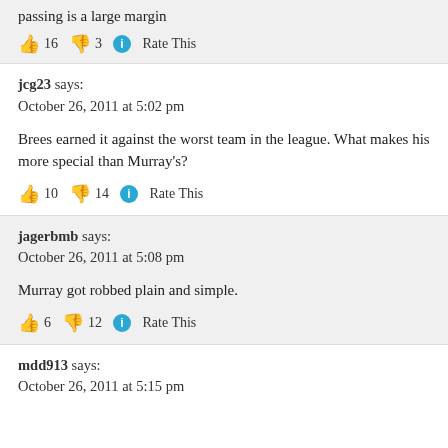passing is a large margin
👍 16 👎 3 ℹ Rate This
jcg23 says:
October 26, 2011 at 5:02 pm
Brees earned it against the worst team in the league. What makes his more special than Murray's?
👍 10 👎 14 ℹ Rate This
jagerbmb says:
October 26, 2011 at 5:08 pm
Murray got robbed plain and simple.
👍 6 👎 12 ℹ Rate This
mdd913 says:
October 26, 2011 at 5:15 pm